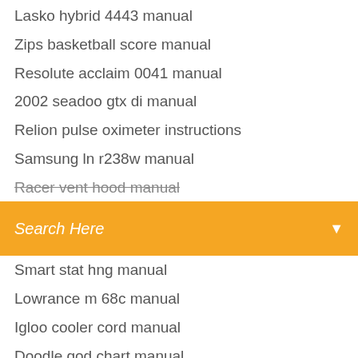Lasko hybrid 4443 manual
Zips basketball score manual
Resolute acclaim 0041 manual
2002 seadoo gtx di manual
Relion pulse oximeter instructions
Samsung ln r238w manual
Racer vent hood manual
Search Here
Smart stat hng manual
Lowrance m 68c manual
Igloo cooler cord manual
Doodle god chart manual
Gander mountain dehydrator manual
Smarty jr programmer manual
Rubens tube materials manual
Avigo range rover manual
Huffy basketball goal replacement parts
445 tcp ib_block manual